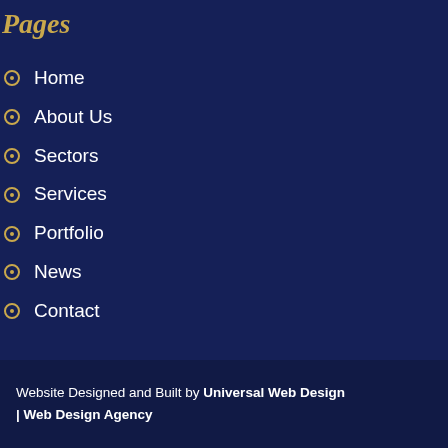Pages
Home
About Us
Sectors
Services
Portfolio
News
Contact
Website Designed and Built by Universal Web Design | Web Design Agency